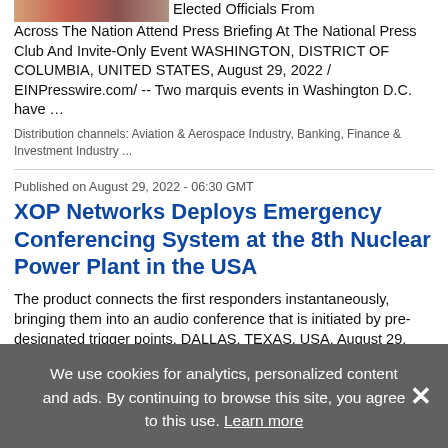[Figure (photo): Partial thumbnail image of people at a press event]
Elected Officials From Across The Nation Attend Press Briefing At The National Press Club And Invite-Only Event WASHINGTON, DISTRICT OF COLUMBIA, UNITED STATES, August 29, 2022 / EINPresswire.com/ -- Two marquis events in Washington D.C. have …
Distribution channels: Aviation & Aerospace Industry, Banking, Finance & Investment Industry ...
Published on August 29, 2022 - 06:30 GMT
XOP Networks Deploys Emergency Conferencing System at the 8th Nuclear Power Plant in the USA
The product connects the first responders instantaneously, bringing them into an audio conference that is initiated by pre-designated trigger points. DALLAS, TEXAS, USA, August 29, 2022 /EINPresswire.com/ -- XOP Networks Inc, manufacturer of …
Distribution channels: Aviation & Aerospace Industry, Chemical Industry ...
Published on August 29, 2022 - 05:38 GMT
We use cookies for analytics, personalized content and ads. By continuing to browse this site, you agree to this use. Learn more